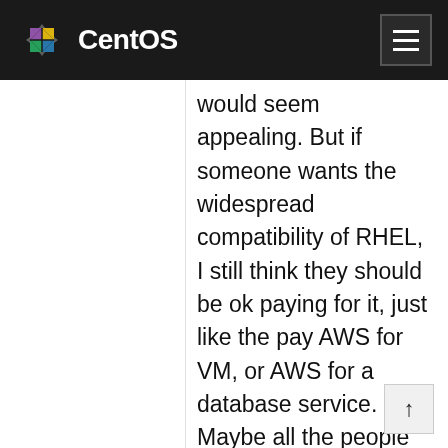CentOS
would seem appealing. But if someone wants the widespread compatibility of RHEL, I still think they should be ok paying for it, just like the pay AWS for VM, or AWS for a database service. Maybe all the people that think like me are already paying Red Hat and are not